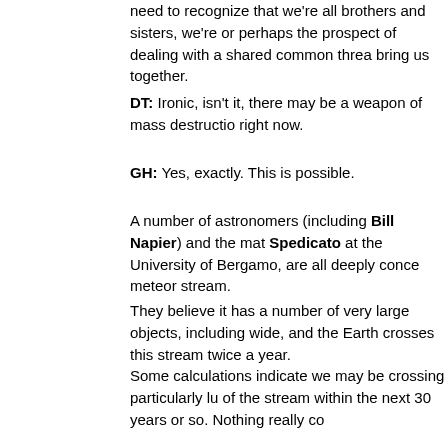need to recognize that we're all brothers and sisters, we're or perhaps the prospect of dealing with a shared common threa bring us together.
DT: Ironic, isn't it, there may be a weapon of mass destructio right now.
GH: Yes, exactly. This is possible.
A number of astronomers (including Bill Napier) and the mat Spedicato at the University of Bergamo, are all deeply conce meteor stream.
They believe it has a number of very large objects, including wide, and the Earth crosses this stream twice a year.
Some calculations indicate we may be crossing particularly lu of the stream within the next 30 years or so. Nothing really co
We need to pay attention to this problem. We need to identify Earth, and we need to move them. All of that we can do, it jus have the technology.
But while we go around fearing and hating and suspecting or the ball. Our eyes are on totally the wrong place.